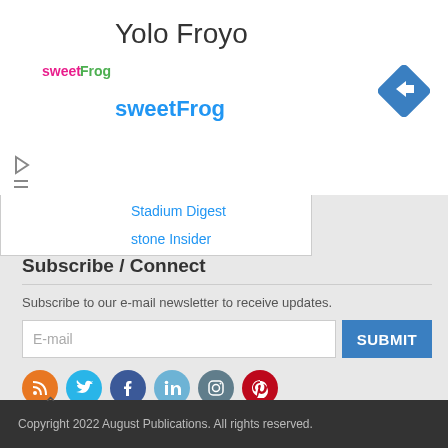Yolo Froyo
sweetFrog
[Figure (logo): sweetFrog logo]
[Figure (other): Blue diamond navigation/directions icon with white right-turn arrow]
Stadium Digest
stone Insider
Subscribe / Connect
Subscribe to our e-mail newsletter to receive updates.
E-mail
SUBMIT
[Figure (infographic): Social media icons: RSS (orange), Twitter (blue), Facebook (dark blue), LinkedIn (light blue), Instagram (gray), Pinterest (red/crimson)]
Copyright 2022 August Publications. All rights reserved.